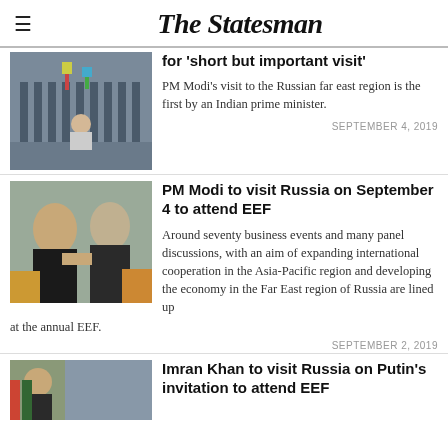The Statesman
[Figure (photo): Military parade scene with soldiers and flags]
for 'short but important visit'
PM Modi's visit to the Russian far east region is the first by an Indian prime minister.
SEPTEMBER 4, 2019
[Figure (photo): Two men in suits shaking hands]
PM Modi to visit Russia on September 4 to attend EEF
Around seventy business events and many panel discussions, with an aim of expanding international cooperation in the Asia-Pacific region and developing the economy in the Far East region of Russia are lined up at the annual EEF.
SEPTEMBER 2, 2019
[Figure (photo): Partial photo of people with flags]
Imran Khan to visit Russia on Putin's invitation to attend EEF